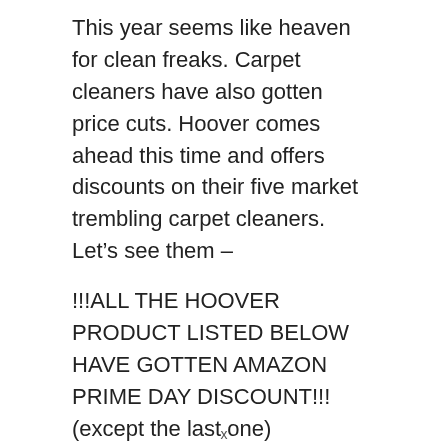This year seems like heaven for clean freaks. Carpet cleaners have also gotten price cuts. Hoover comes ahead this time and offers discounts on their five market trembling carpet cleaners. Let's see them –
!!!ALL THE HOOVER PRODUCT LISTED BELOW HAVE GOTTEN AMAZON PRIME DAY DISCOUNT!!! (except the last one)
Amazon prime day, 2018 deals
Let us take a short glance over the vacuum cleaners which got discounts on the previous
x